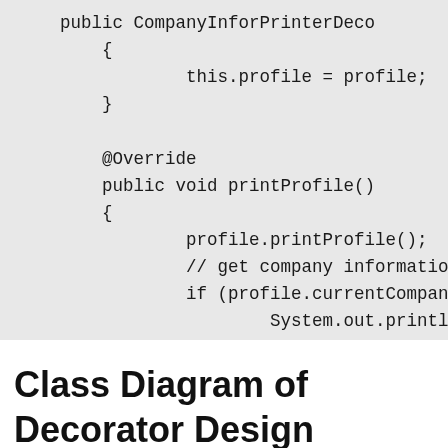[Figure (screenshot): Code snippet showing Java class with constructor and printProfile() method override, displayed on a light gray background. The constructor assigns 'this.profile = profile;' and the printProfile() method calls 'profile.printProfile();', checks 'if (profile.currentCompany != nul' and calls 'System.out.println("Enhance...'.]
Class Diagram of Decorator Design Pattern